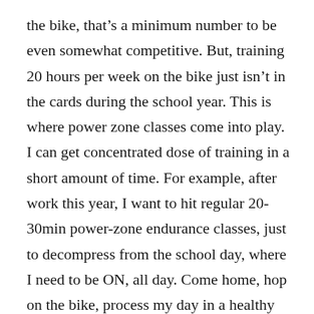the bike, that's a minimum number to be even somewhat competitive. But, training 20 hours per week on the bike just isn't in the cards during the school year. This is where power zone classes come into play. I can get concentrated dose of training in a short amount of time. For example, after work this year, I want to hit regular 20-30min power-zone endurance classes, just to decompress from the school day, where I need to be ON, all day. Come home, hop on the bike, process my day in a healthy manner, avoid ALL the distracted PM drivers, stay alive, all while maintaining some nice training frequency. Just a third to half of an hour to feel fantastic for the rest of the evening, and get a good night's sleep, which is the glue that holds everything together.